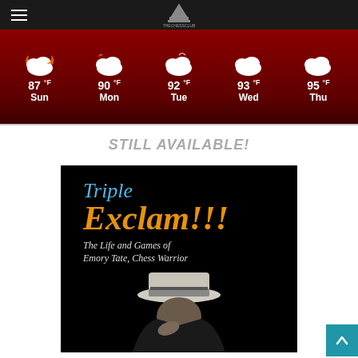Navigation header with hamburger menu and chess site logo
[Figure (infographic): 5-day weather forecast strip showing cloud icons with temperatures: Sun 87°F, Mon 90°F, Tue 92°F, Wed 93°F, Thu 95°F on dark red background]
STILL AVAILABLE!
[Figure (photo): Book cover for 'Triple Exclam!!! The Life and Games of Emory Tate, Chess Warrior' — black background with blue italic 'Triple', orange bold italic 'Exclam!!!', white subtitle text, and a man in a white hat with his hand to his face in the lower portion]